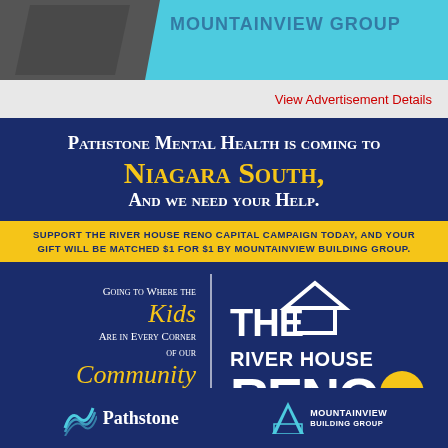[Figure (logo): Top banner with cyan/teal background and dark logo shape on left, partially visible 'MOUNTAINVIEW GROUP' text]
View Advertisement Details
Pathstone Mental Health is coming to NIAGARA SOUTH, And we need your HELP.
SUPPORT THE RIVER HOUSE RENO CAPITAL CAMPAIGN TODAY, AND YOUR GIFT WILL BE MATCHED $1 FOR $1 BY MOUNTAINVIEW BUILDING GROUP.
Going to Where the Kids Are in Every Corner of our Community
[Figure (logo): The River House Reno logo with house icon and running figure]
[Figure (logo): Pathstone Mental Health logo at bottom left]
[Figure (logo): Mountainview Building Group logo at bottom right]